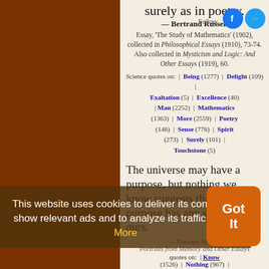surely as in poetry.
— Bertrand Russell
Essay, 'The Study of Mathematics' (1902), collected in Philosophical Essays (1910), 73-74. Also collected in Mysticism and Logic: And Other Essays (1919), 60.
Science quotes on: | Being (1277) | Delight (109) | Exaltation (5) | Excellence (40) | Man (2252) | Mathematics (1363) | More (2559) | Poetry (146) | Sense (776) | Spirit (273) | Surely (101) | Touchstone (5)
The universe may have a purpose, but nothing we know suggests that, if so, this purpose has any similarity to ours.
This website uses cookies to deliver its content, to show relevant ads and to analyze its traffic. Learn More
Got It